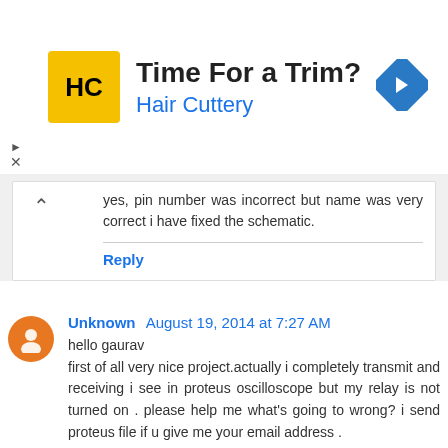[Figure (other): Hair Cuttery advertisement banner with logo, text 'Time For a Trim?' and navigation arrow icon]
yes, pin number was incorrect but name was very correct i have fixed the schematic.
Reply
Unknown August 19, 2014 at 7:27 AM
hello gaurav
first of all very nice project.actually i completely transmit and receiving i see in proteus oscilloscope but my relay is not turned on . please help me what's going to wrong? i send proteus file if u give me your email address .
Reply
Unknown August 23, 2014 at 12:35 PM